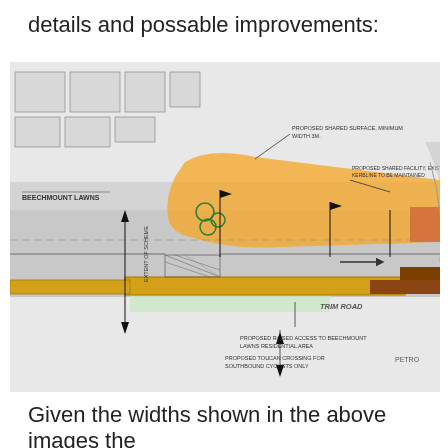details and possable improvements:
[Figure (engineering-diagram): Engineering/planning diagram showing a road junction at Trim Road with proposed cycle and pedestrian infrastructure improvements, including: proposed shared surface minimum width 3m, proposed shared facility existing kerbline to be maintained, proposed raised access to Beechmount Lawns residential area, proposed toucan crossing for southbound cyclists only, extent of scheme marked, Beechmount Lawns label, Petro label, orange-highlighted shared surface area, yellow road markings, and green tree symbols.]
Given the widths shown in the above images the